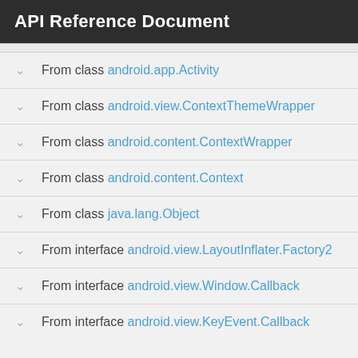API Reference Document
From class android.app.Activity
From class android.view.ContextThemeWrapper
From class android.content.ContextWrapper
From class android.content.Context
From class java.lang.Object
From interface android.view.LayoutInflater.Factory2
From interface android.view.Window.Callback
From interface android.view.KeyEvent.Callback